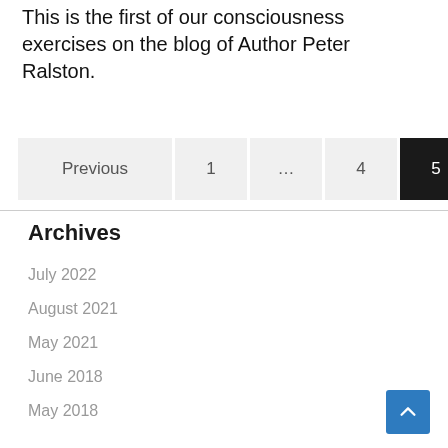This is the first of our consciousness exercises on the blog of Author Peter Ralston.
Previous 1 … 4 5
Archives
July 2022
August 2021
May 2021
June 2018
May 2018